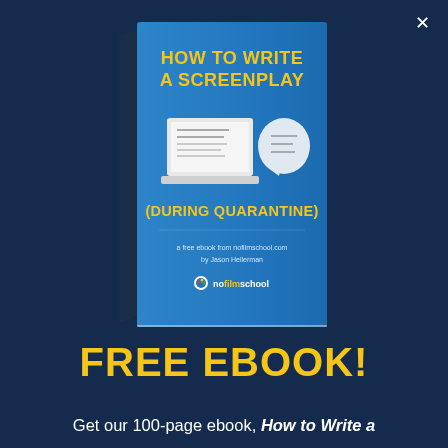[Figure (illustration): 3D rendered book cover with blue background. Title reads 'HOW TO WRITE A SCREENPLAY (DURING QUARANTINE)' in yellow bold text. Features a laptop illustration and a chat bubble icon. Byline: 'a free ebook from nofilmschool.com by Jason Hellerman' with nofilmschool logo at bottom.]
FREE EBOOK!
Get our 100-page ebook, How to Write a